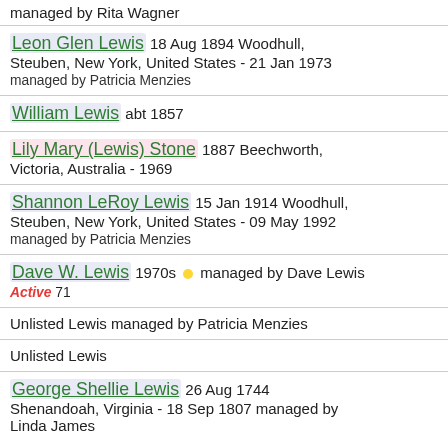managed by Rita Wagner
Leon Glen Lewis 18 Aug 1894 Woodhull, Steuben, New York, United States - 21 Jan 1973 managed by Patricia Menzies
William Lewis abt 1857
Lily Mary (Lewis) Stone 1887 Beechworth, Victoria, Australia - 1969
Shannon LeRoy Lewis 15 Jan 1914 Woodhull, Steuben, New York, United States - 09 May 1992 managed by Patricia Menzies
Dave W. Lewis 1970s • managed by Dave Lewis Active 71
Unlisted Lewis managed by Patricia Menzies
Unlisted Lewis
George Shellie Lewis 26 Aug 1744 Shenandoah, Virginia - 18 Sep 1807 managed by Linda James